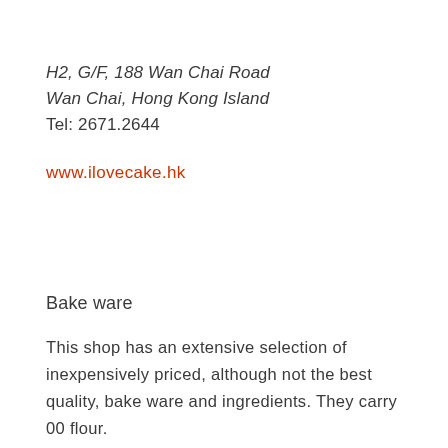H2, G/F, 188 Wan Chai Road
Wan Chai, Hong Kong Island
Tel: 2671.2644
www.ilovecake.hk
Bake ware
This shop has an extensive selection of inexpensively priced, although not the best quality, bake ware and ingredients. They carry 00 flour.